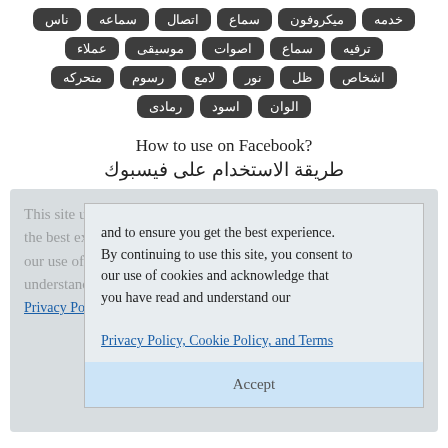[Figure (infographic): A grid of Arabic keyword tags with dark rounded pill/badge styling: خدمه، ميكروفون، سماع، اتصال، سماعه، ناس، ترفيه، سماع، اصوات، موسيقى، عملاء، اشخاص، ظل، نور، لامع، رسوم، متحركه، الوان، اسود، رمادى]
How to use on Facebook?
طريقة الاستخدام على فيسبوك
This site uses cookies to deliver our services and to ensure you get the best experience. By continuing to use this site, you consent to our use of cookies and acknowledge that you have read and understand our Privacy Policy, Cookie Policy, and Terms
Accept